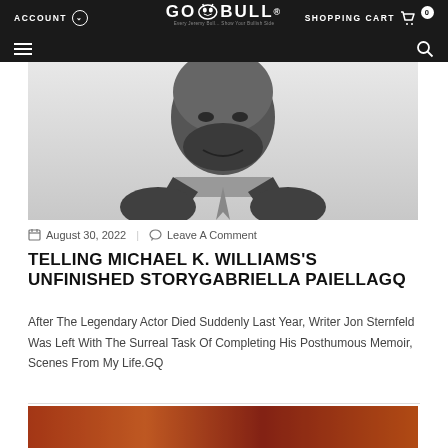ACCOUNT | GO BULL® | SHOPPING CART 0
[Figure (photo): Black and white portrait photo of Michael K. Williams, smiling, wearing a suit and tie with a beard]
August 30, 2022 | Leave A Comment
TELLING MICHAEL K. WILLIAMS'S UNFINISHED STORYGABRIELLA PAIELLAGQ
After The Legendary Actor Died Suddenly Last Year, Writer Jon Sternfeld Was Left With The Surreal Task Of Completing His Posthumous Memoir, Scenes From My Life.GQ
[Figure (photo): Partial view of another article's hero image at bottom of page, showing warm orange and red tones]